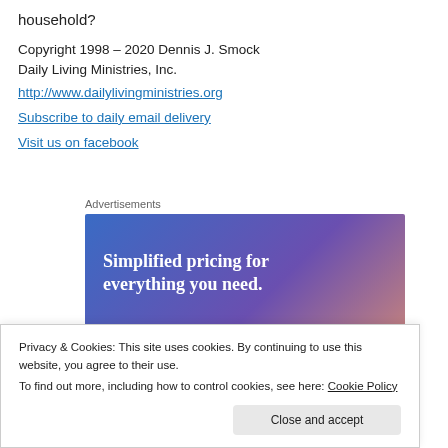household?
Copyright 1998 – 2020 Dennis J. Smock
Daily Living Ministries, Inc.
http://www.dailylivingministries.org
Subscribe to daily email delivery
Visit us on facebook
Advertisements
[Figure (infographic): Advertisement banner with blue-purple gradient background and white text reading 'Simplified pricing for everything you need.' with a partial arch/needle graphic on the right side, and a WordPress.com footer banner.]
Privacy & Cookies: This site uses cookies. By continuing to use this website, you agree to their use.
To find out more, including how to control cookies, see here: Cookie Policy
Close and accept